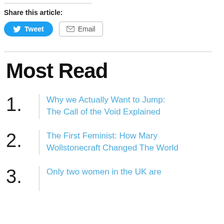Share this article:
Why we Actually Want to Jump: The Call of the Void Explained
The First Feminist: How Mary Wollstonecraft Changed The World
Only two women in the UK are
Most Read